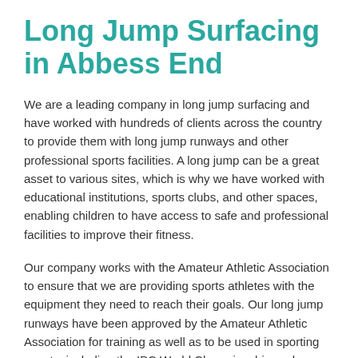Long Jump Surfacing in Abbess End
We are a leading company in long jump surfacing and have worked with hundreds of clients across the country to provide them with long jump runways and other professional sports facilities. A long jump can be a great asset to various sites, which is why we have worked with educational institutions, sports clubs, and other spaces, enabling children to have access to safe and professional facilities to improve their fitness.
Our company works with the Amateur Athletic Association to ensure that we are providing sports athletes with the equipment they need to reach their goals. Our long jump runways have been approved by the Amateur Athletic Association for training as well as to be used in sporting events, including the IPC World Championships, where our long jump surfaces play a huge role.
It is important that these facilities are made to a high standard and that this standard is maintained across the industry so those in UK athletics can train wherever they are available. This is why for